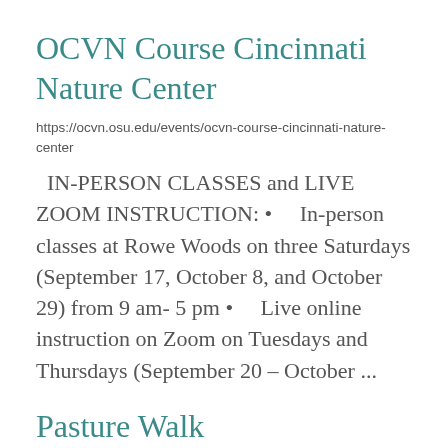OCVN Course Cincinnati Nature Center
https://ocvn.osu.edu/events/ocvn-course-cincinnati-nature-center
IN-PERSON CLASSES and LIVE ZOOM INSTRUCTION: • In-person classes at Rowe Woods on three Saturdays (September 17, October 8, and October 29) from 9 am- 5 pm • Live online instruction on Zoom on Tuesdays and Thursdays (September 20 – October ...
Pasture Walk